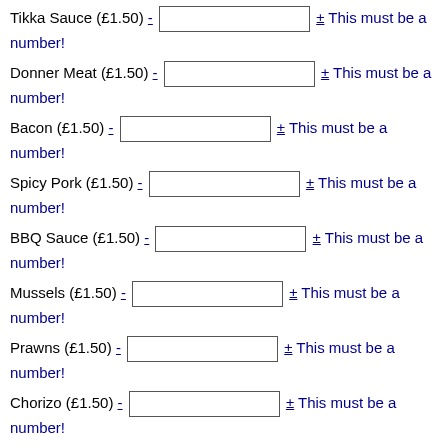Tikka Sauce (£1.50) - [input] ± This must be a number!
Donner Meat (£1.50) - [input] ± This must be a number!
Bacon (£1.50) - [input] ± This must be a number!
Spicy Pork (£1.50) - [input] ± This must be a number!
BBQ Sauce (£1.50) - [input] ± This must be a number!
Mussels (£1.50) - [input] ± This must be a number!
Prawns (£1.50) - [input] ± This must be a number!
Chorizo (£1.50) - [input] ± This must be a number!
1